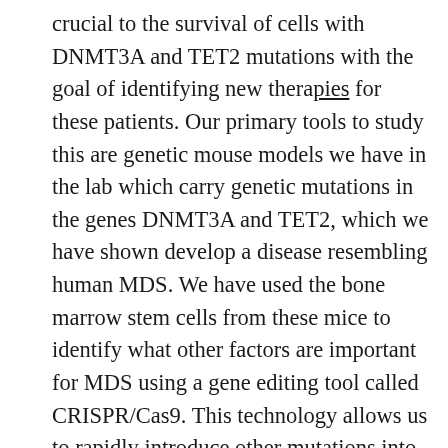crucial to the survival of cells with DNMT3A and TET2 mutations with the goal of identifying new therapies for these patients. Our primary tools to study this are genetic mouse models we have in the lab which carry genetic mutations in the genes DNMT3A and TET2, which we have shown develop a disease resembling human MDS. We have used the bone marrow stem cells from these mice to identify what other factors are important for MDS using a gene editing tool called CRISPR/Cas9. This technology allows us to rapidly introduce other mutations into the cells with pre-existing DNMT3A and TET2 mutations. We then track all the mutant cells, and identify which genes are necessary for cancer by identifying which mutations “disappear” from the mice over time using high-throughput genome sequencing. Any mutations which disappear means that particular gene is required for survival of the cancer cells, as without that gene, the cancer cells die. Thus, any mutant